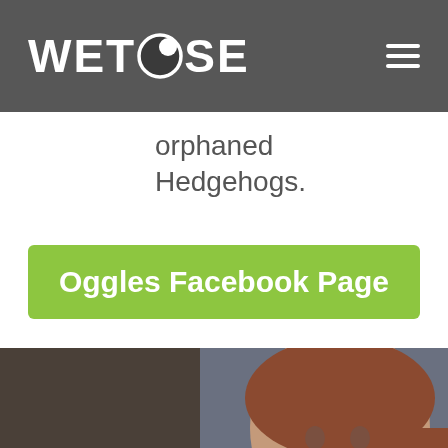WETNOSE
orphaned Hedgehogs.
Oggles Facebook Page
[Figure (photo): A woman holding a hedgehog in her hand, smiling at the camera. The hedgehog is brown with spines, sitting in her palm.]